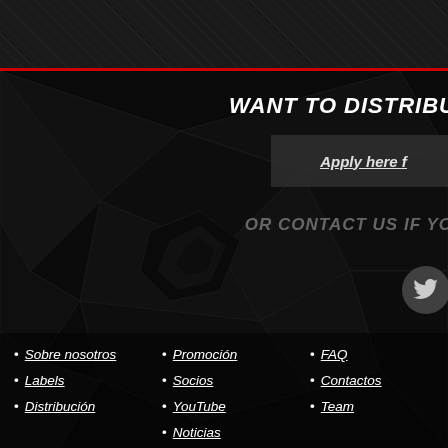WANT TO DISTRIBU
Apply here f
OR CONTACT US IF YO
Sobre nosotros
Labels
Distribución
Promoción
Socios
YouTube
Noticias
FAQ
Contactos
Team